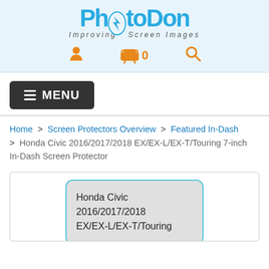[Figure (logo): PhotoDon logo with lightning bolt and tagline 'Improving Screen Images']
[Figure (infographic): Navigation icons: user icon, shopping cart with 0, and search magnifying glass icon in orange]
≡ MENU
Home > Screen Protectors Overview > Featured In-Dash > Honda Civic 2016/2017/2018 EX/EX-L/EX-T/Touring 7-inch In-Dash Screen Protector
[Figure (photo): Product image showing a screen protector label for Honda Civic 2016/2017/2018 EX/EX-L/EX-T/Touring, rounded rectangle shape with light blue border on grey background]